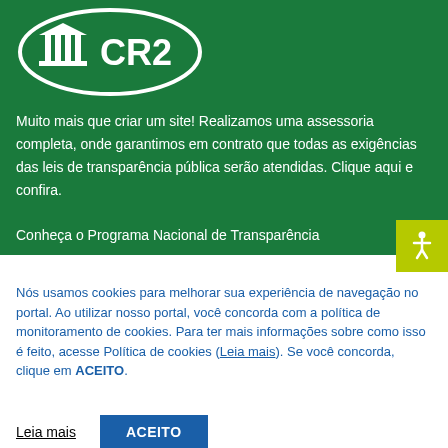[Figure (logo): CR2 logo with blue oval border and building/columns icon on green background]
Muito mais que criar um site! Realizamos uma assessoria completa, onde garantimos em contrato que todas as exigências das leis de transparência pública serão atendidas. Clique aqui e confira.
Conheça o Programa Nacional de Transparência
Nós usamos cookies para melhorar sua experiência de navegação no portal. Ao utilizar nosso portal, você concorda com a política de monitoramento de cookies. Para ter mais informações sobre como isso é feito, acesse Política de cookies (Leia mais). Se você concorda, clique em ACEITO.
Leia mais
ACEITO